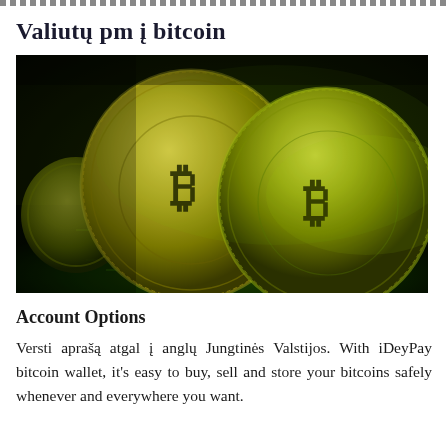Valiutų pm į bitcoin
[Figure (photo): Close-up photograph of golden Bitcoin coins resting on a green circuit board, illuminated with green and yellow lighting.]
Account Options
Versti aprašą atgal į anglų Jungtinės Valstijos. With iDeyPay bitcoin wallet, it's easy to buy, sell and store your bitcoins safely whenever and everywhere you want.